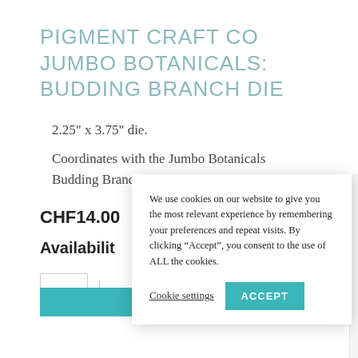PIGMENT CRAFT CO JUMBO BOTANICALS: BUDDING BRANCH DIE
2.25" x 3.75" die.
Coordinates with the Jumbo Botanicals Budding Branch stamp set.
CHF14.00
Availabilit
We use cookies on our website to give you the most relevant experience by remembering your preferences and repeat visits. By clicking “Accept”, you consent to the use of ALL the cookies.
Cookie settings
ACCEPT